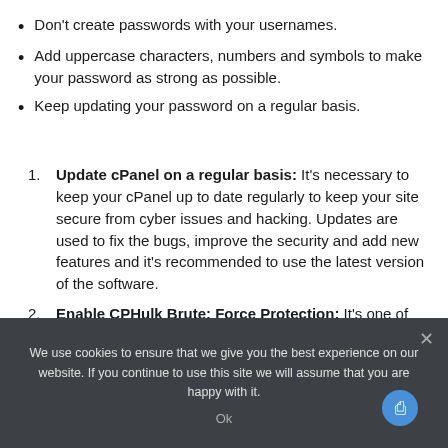Don't create passwords with your usernames.
Add uppercase characters, numbers and symbols to make your password as strong as possible.
Keep updating your password on a regular basis.
Update cPanel on a regular basis: It's necessary to keep your cPanel up to date regularly to keep your site secure from cyber issues and hacking. Updates are used to fix the bugs, improve the security and add new features and it's recommended to use the latest version of the software.
Enable CPHulk Brute: Force Protection: It's one of the most effective security practices as it allows you to block
We use cookies to ensure that we give you the best experience on our website. If you continue to use this site we will assume that you are happy with it.
Ok